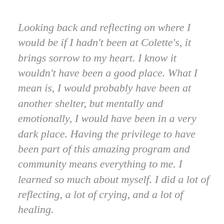Looking back and reflecting on where I would be if I hadn't been at Colette's, it brings sorrow to my heart. I know it wouldn't have been a good place. What I mean is, I would probably have been at another shelter, but mentally and emotionally, I would have been in a very dark place. Having the privilege to have been part of this amazing program and community means everything to me. I learned so much about myself. I did a lot of reflecting, a lot of crying, and a lot of healing.
I learned more about parenting and made new friends, that I know will last a lifetime